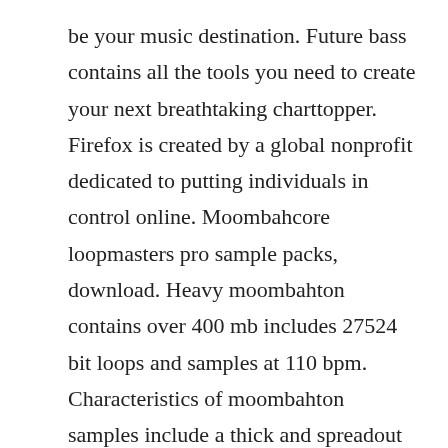be your music destination. Future bass contains all the tools you need to create your next breathtaking charttopper. Firefox is created by a global nonprofit dedicated to putting individuals in control online. Moombahcore loopmasters pro sample packs, download. Heavy moombahton contains over 400 mb includes 27524 bit loops and samples at 110 bpm. Characteristics of moombahton samples include a thick and spreadout bassline, dramatic builds, and a twostep pulse with quick drum fills.